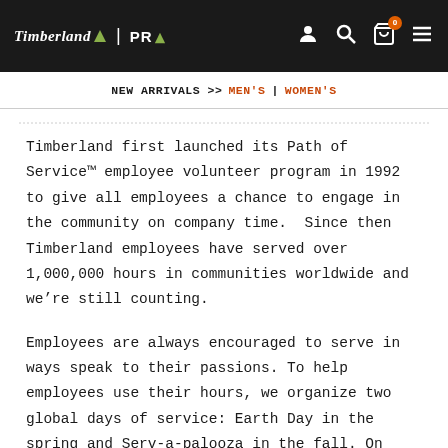Timberland PRO | NEW ARRIVALS >> MEN'S | WOMEN'S
Timberland first launched its Path of Service™ employee volunteer program in 1992 to give all employees a chance to engage in the community on company time.  Since then Timberland employees have served over 1,000,000 hours in communities worldwide and we're still counting.
Employees are always encouraged to serve in ways speak to their passions. To help employees use their hours, we organize two global days of service: Earth Day in the spring and Serv-a-palooza in the fall. On these two days, employees worldwide pull on their boots to make a difference. Earth Day events focus on protecting the